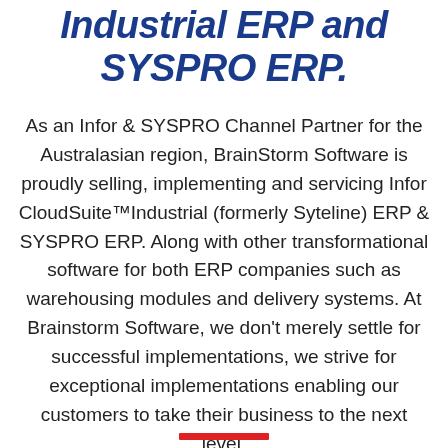Industrial ERP and SYSPRO ERP.
As an Infor & SYSPRO Channel Partner for the Australasian region, BrainStorm Software is proudly selling, implementing and servicing Infor CloudSuite™Industrial (formerly Syteline) ERP & SYSPRO ERP. Along with other transformational software for both ERP companies such as warehousing modules and delivery systems. At Brainstorm Software, we don't merely settle for successful implementations, we strive for exceptional implementations enabling our customers to take their business to the next level.